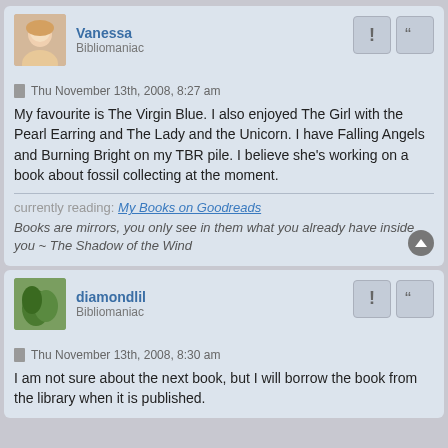Vanessa
Bibliomaniac
Thu November 13th, 2008, 8:27 am
My favourite is The Virgin Blue. I also enjoyed The Girl with the Pearl Earring and The Lady and the Unicorn. I have Falling Angels and Burning Bright on my TBR pile. I believe she's working on a book about fossil collecting at the moment.
currently reading: My Books on Goodreads
Books are mirrors, you only see in them what you already have inside you ~ The Shadow of the Wind
diamondlil
Bibliomaniac
Thu November 13th, 2008, 8:30 am
I am not sure about the next book, but I will borrow the book from the library when it is published.